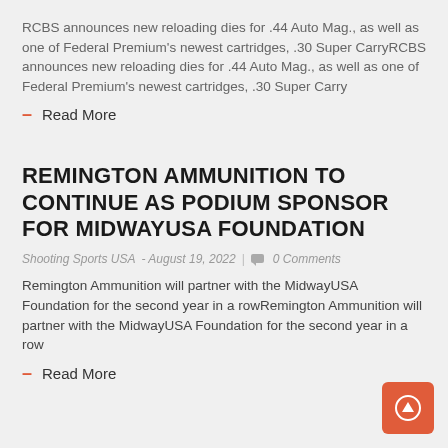RCBS announces new reloading dies for .44 Auto Mag., as well as one of Federal Premium's newest cartridges, .30 Super CarryRCBS announces new reloading dies for .44 Auto Mag., as well as one of Federal Premium's newest cartridges, .30 Super Carry
– Read More
REMINGTON AMMUNITION TO CONTINUE AS PODIUM SPONSOR FOR MIDWAYUSA FOUNDATION
Shooting Sports USA - August 19, 2022 | 0 Comments
Remington Ammunition will partner with the MidwayUSA Foundation for the second year in a rowRemington Ammunition will partner with the MidwayUSA Foundation for the second year in a row
– Read More